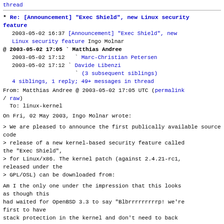thread
* Re: [Announcement] "Exec Shield", new Linux security feature
2003-05-02 16:37 [Announcement] "Exec Shield", new Linux security feature Ingo Molnar
@ 2003-05-02 17:05 ` Matthias Andree
  2003-05-02 17:12   ` Marc-Christian Petersen
  2003-05-02 17:12 ` Davide Libenzi
                   ` (3 subsequent siblings)
  4 siblings, 1 reply; 49+ messages in thread
From: Matthias Andree @ 2003-05-02 17:05 UTC (permalink / raw)
To: linux-kernel
On Fri, 02 May 2003, Ingo Molnar wrote:
> We are pleased to announce the first publically available source code
> release of a new kernel-based security feature called the "Exec Shield",
> for Linux/x86. The kernel patch (against 2.4.21-rc1, released under the
> GPL/OSL) can be downloaded from:
Am I the only one under the impression that this looks as though this
had waited for OpenBSD 3.3 to say "Blbrrrrrrrrrp! we're first to have
stack protection in the kernel and don't need to back